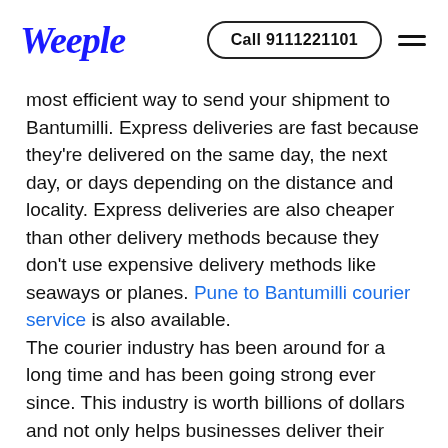Weeple | Call 9111221101
most efficient way to send your shipment to Bantumilli. Express deliveries are fast because they're delivered on the same day, the next day, or days depending on the distance and locality. Express deliveries are also cheaper than other delivery methods because they don't use expensive delivery methods like seaways or planes. Pune to Bantumilli courier service is also available.
The courier industry has been around for a long time and has been going strong ever since. This industry is worth billions of dollars and not only helps businesses deliver their products but also provides fast, reliable delivery services to their